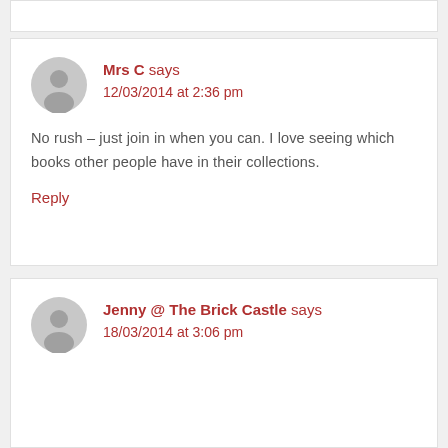Mrs C says
12/03/2014 at 2:36 pm
No rush – just join in when you can. I love seeing which books other people have in their collections.
Reply
Jenny @ The Brick Castle says
18/03/2014 at 3:06 pm